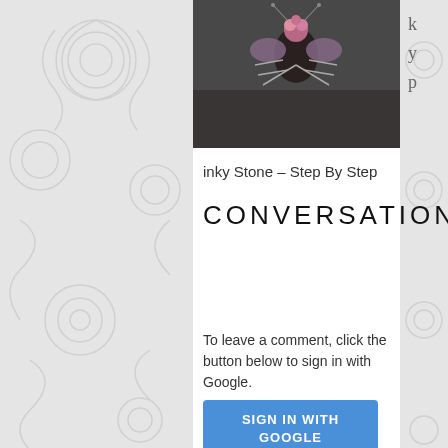[Figure (photo): Close-up photo of a decorative insect/beetle on a dark grey background, viewed from above]
inky Stone – Step By Step
CONVERSATION
To leave a comment, click the button below to sign in with Google.
SIGN IN WITH GOOGLE